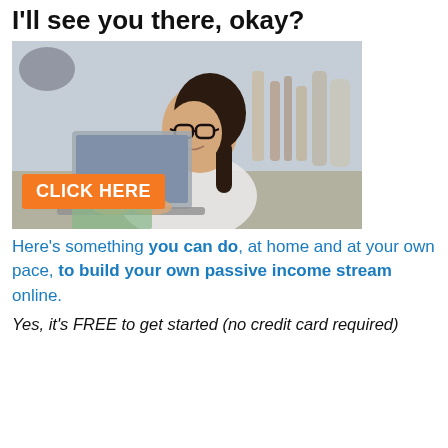I'll see you there, okay?
[Figure (photo): Young woman with glasses and dark braided hair smiling while using a laptop at a desk with art supplies in the background. Overlaid orange button reads CLICK HERE.]
Here's something you can do, at home and at your own pace, to build your own passive income stream online.
Yes, it's FREE to get started (no credit card required)